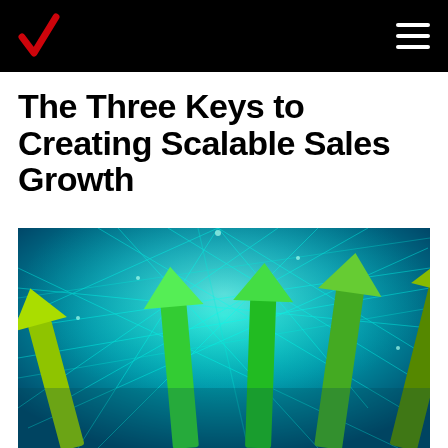Verizon
The Three Keys to Creating Scalable Sales Growth
[Figure (illustration): Digital technology background with glowing cyan network lines and green upward-pointing arrows symbolizing growth and sales increase]